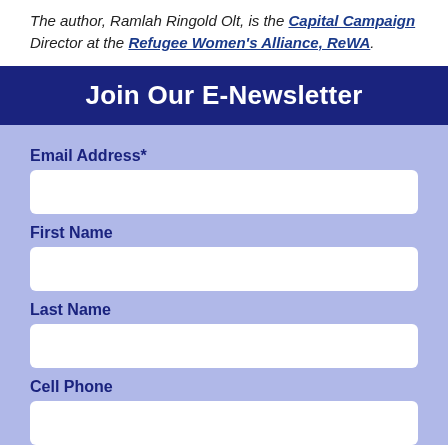The author, Ramlah Ringold Olt, is the Capital Campaign Director at the Refugee Women's Alliance, ReWA.
Join Our E-Newsletter
Email Address*
First Name
Last Name
Cell Phone